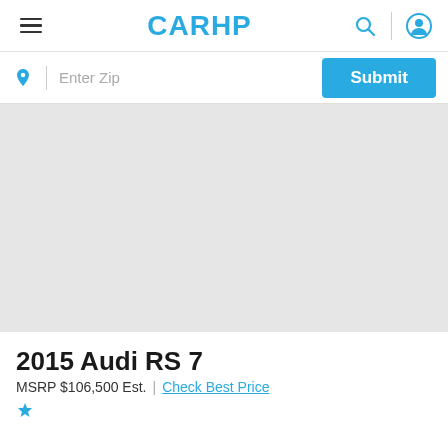CARHP
Enter Zip | Submit
[Figure (map): Gray map placeholder area]
2015 Audi RS 7
MSRP $106,500 Est.  |  Check Best Price